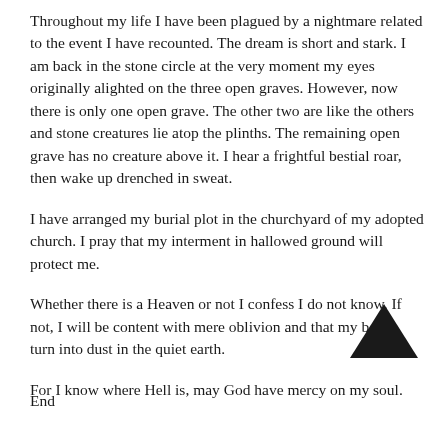Throughout my life I have been plagued by a nightmare related to the event I have recounted. The dream is short and stark. I am back in the stone circle at the very moment my eyes originally alighted on the three open graves. However, now there is only one open grave. The other two are like the others and stone creatures lie atop the plinths. The remaining open grave has no creature above it. I hear a frightful bestial roar, then wake up drenched in sweat.
I have arranged my burial plot in the churchyard of my adopted church. I pray that my interment in hallowed ground will protect me.
Whether there is a Heaven or not I confess I do not know. If not, I will be content with mere oblivion and that my bones turn into dust in the quiet earth.
For I know where Hell is, may God have mercy on my soul.
[Figure (illustration): A dark upward-pointing chevron/arrow symbol]
End